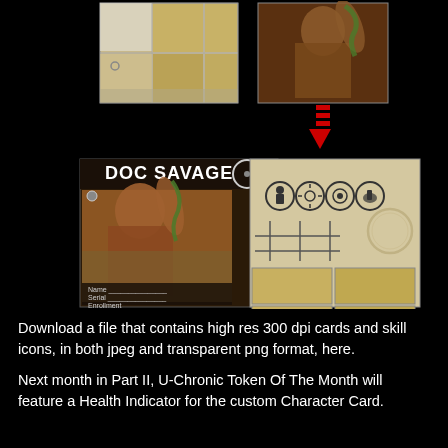[Figure (illustration): Composite image showing Doc Savage character card assembly process. Top row shows two images: left is a card template with tan/beige grid squares, right is a muscular warrior figure with a snake with a red arrow pointing down. Bottom large image shows the completed Doc Savage character card on the left (comic book style warrior holding a snake, with 'Doc Savage' header text and name/serial/enrollment fields at bottom), and a game card sheet on the right with four skill icons, a tic-tac-toe grid, a circular stain mark, and four tan square panels in 2x2 grid.]
Download a file that contains high res 300 dpi cards and skill icons, in both jpeg and transparent png format, here.
Next month in Part II, U-Chronic Token Of The Month will feature a Health Indicator for the custom Character Card.